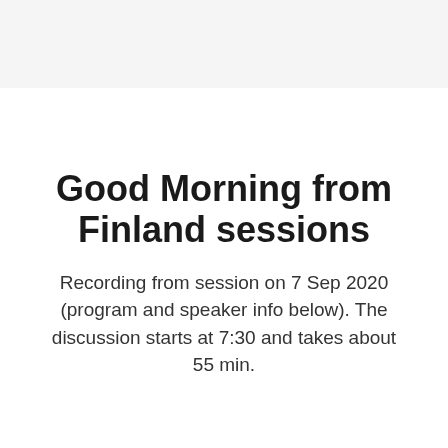[Figure (other): Light gray banner/header area at the top of the page]
Good Morning from Finland sessions
Recording from session on 7 Sep 2020 (program and speaker info below). The discussion starts at 7:30 and takes about 55 min.